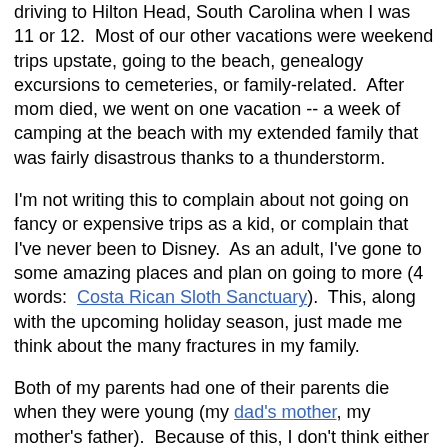driving to Hilton Head, South Carolina when I was 11 or 12.  Most of our other vacations were weekend trips upstate, going to the beach, genealogy excursions to cemeteries, or family-related.  After mom died, we went on one vacation -- a week of camping at the beach with my extended family that was fairly disastrous thanks to a thunderstorm.
I'm not writing this to complain about not going on fancy or expensive trips as a kid, or complain that I've never been to Disney.  As an adult, I've gone to some amazing places and plan on going to more (4 words:  Costa Rican Sloth Sanctuary).  This, along with the upcoming holiday season, just made me think about the many fractures in my family.
Both of my parents had one of their parents die when they were young (my dad's mother, my mother's father).  Because of this, I don't think either of them had normal childhoods.  I don't think either of them grew up going on family vacations (my mom's father was in the Army, I don't think that relocating counts as a vacation). My paternal grandfather remarried and had more kids (so there are 4 from my paternal grandmother, 3 from my paternal step-grandmother, for a total of 7 kids). The second chapter continues...